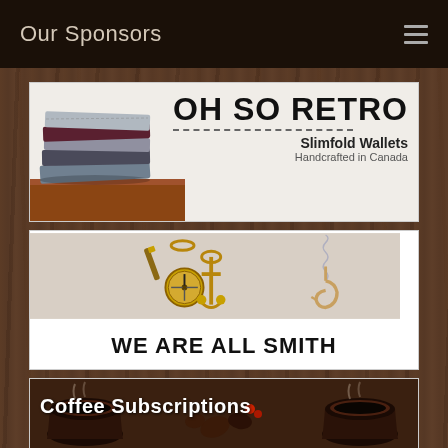Our Sponsors
[Figure (illustration): Oh So Retro sponsor banner showing stacked slimfold wallets on left with text 'OH SO RETRO / Slimfold Wallets / Handcrafted in Canada' on right]
[Figure (illustration): We Are All Smith sponsor banner showing various gold/bronze jewelry items (compass keychain, anchor, fish hook pendant) above bold text 'WE ARE ALL SMITH']
[Figure (illustration): Coffee Subscriptions sponsor banner showing coffee cups with text 'Coffee Subscriptions' overlaid]